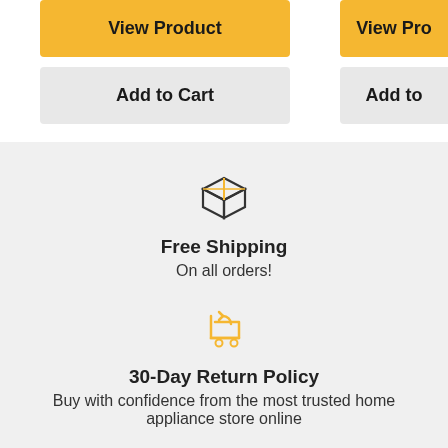View Product
Add to Cart
View Pro...
Add to...
[Figure (illustration): Box/package icon representing shipping]
Free Shipping
On all orders!
[Figure (illustration): Shopping cart with return arrow icon]
30-Day Return Policy
Buy with confidence from the most trusted home appliance store online